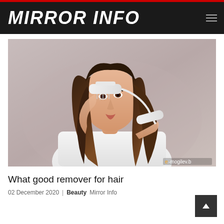MIRROR INFO
[Figure (photo): Woman with dark brown hair using a white hair styling tool/brush, wearing a white t-shirt, on a gray background. Watermark: e-mogilev.b]
What good remover for hair
02 December 2020  Beauty  Mirror Info